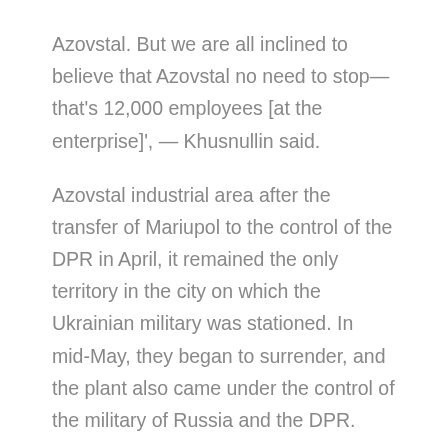Azovstal. But we are all inclined to believe that Azovstal no need to stop— that's 12,000 employees [at the enterprise]', — Khusnullin said.
Azovstal industrial area after the transfer of Mariupol to the control of the DPR in April, it remained the only territory in the city on which the Ukrainian military was stationed. In mid-May, they began to surrender, and the plant also came under the control of the military of Russia and the DPR.
At the end of May, the head of the republic, Denis Pushilin, said that the plant did not allow Mariupol to